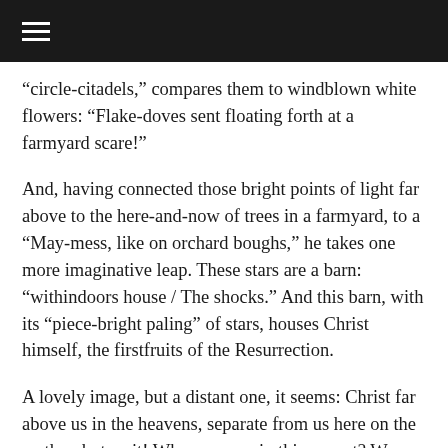“circle-citadels,” compares them to windblown white flowers: “Flake-doves sent floating forth at a farmyard scare!”
And, having connected those bright points of light far above to the here-and-now of trees in a farmyard, to a “May-mess, like on orchard boughs,” he takes one more imaginative leap. These stars are a barn: “withindoors house / The shocks.” And this barn, with its “piece-bright paling” of stars, houses Christ himself, the firstfruits of the Resurrection.
A lovely image, but a distant one, it seems: Christ far above us in the heavens, separate from us here on the earth... but wait! Where are we in this sonnet? We are